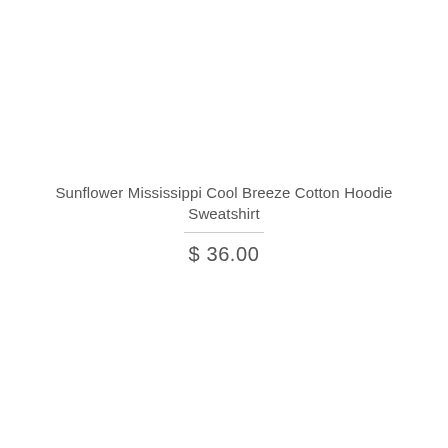Sunflower Mississippi Cool Breeze Cotton Hoodie Sweatshirt
$ 36.00